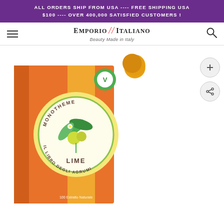ALL ORDERS SHIP FROM USA ---- FREE SHIPPING USA $100 ---- OVER 400,000 SATISFIED CUSTOMERS !
[Figure (logo): Emporio Italiano logo with text 'Beauty Made in Italy']
[Figure (photo): Monotheme Fine Fragrances Venezia - Il Libro Degli Agrumi - Lime perfume box and bottle in orange color with citrus botanical illustration]